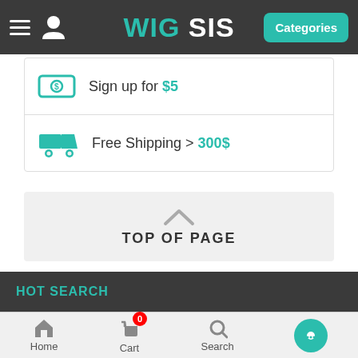WIG SIS - Categories
Sign up for $5
Free Shipping > 300$
TOP OF PAGE
SIGN IN
New Customer? START HERE.
HOT SEARCH
Home  Cart 0  Search